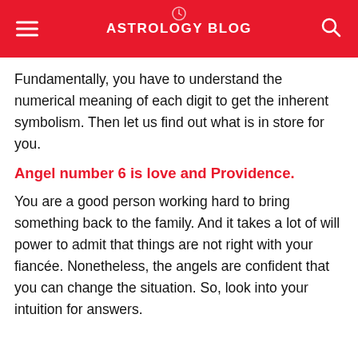ASTROLOGY BLOG
Fundamentally, you have to understand the numerical meaning of each digit to get the inherent symbolism. Then let us find out what is in store for you.
Angel number 6 is love and Providence.
You are a good person working hard to bring something back to the family. And it takes a lot of will power to admit that things are not right with your fiancée. Nonetheless, the angels are confident that you can change the situation. So, look into your intuition for answers.